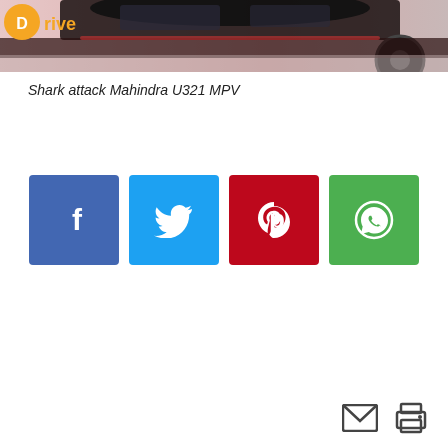[Figure (photo): Top banner showing partial view of a car (Mahindra U321 MPV) with a Drive logo in the top-left corner]
Shark attack Mahindra U321 MPV
[Figure (infographic): Four social share buttons: Facebook (blue), Twitter (light blue), Pinterest (red), WhatsApp (green)]
[Figure (infographic): Bottom-right icons: email envelope and printer icons]